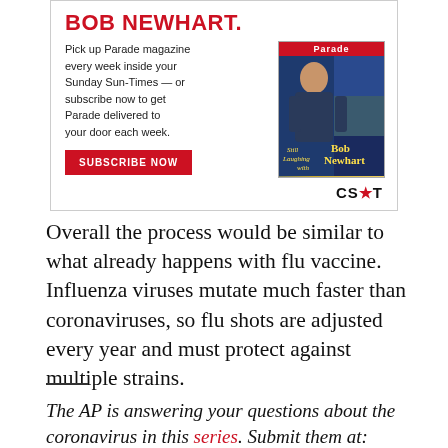[Figure (infographic): Advertisement for Chicago Sun-Times featuring Bob Newhart and Parade magazine. Red bold title 'BOB NEWHART.' with text promoting Parade magazine subscription, a SUBSCRIBE NOW button, a Parade magazine cover image showing Bob Newhart, and CS*T logo.]
Overall the process would be similar to what already happens with flu vaccine. Influenza viruses mutate much faster than coronaviruses, so flu shots are adjusted every year and must protect against multiple strains.
The AP is answering your questions about the coronavirus in this series. Submit them at: